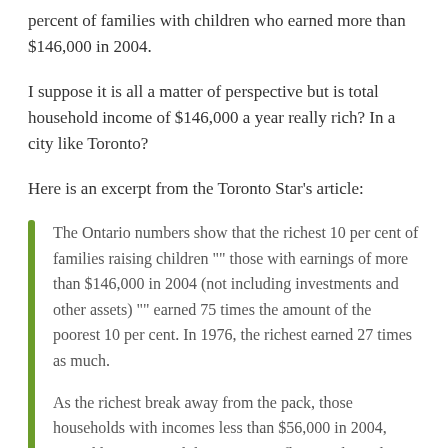percent of families with children who earned more than $146,000 in 2004.
I suppose it is all a matter of perspective but is total household income of $146,000 a year really rich? In a city like Toronto?
Here is an excerpt from the Toronto Star’s article:
The Ontario numbers show that the richest 10 per cent of families raising children “” those with earnings of more than $146,000 in 2004 (not including investments and other assets) “” earned 75 times the amount of the poorest 10 per cent. In 1976, the richest earned 27 times as much.
As the richest break away from the pack, those households with incomes less than $56,000 in 2004, earned less or stayed the same, in inflation-adjusted terms, compared to a